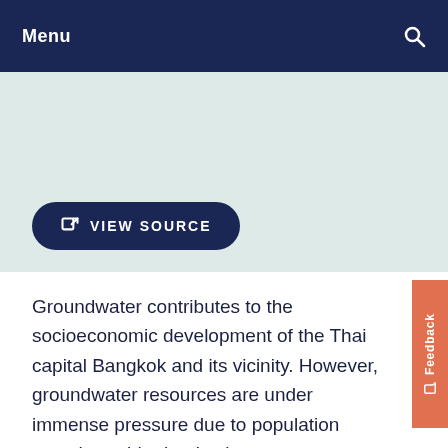Menu
[Figure (screenshot): VIEW SOURCE button on light teal banner background]
Groundwater contributes to the socioeconomic development of the Thai capital Bangkok and its vicinity. However, groundwater resources are under immense pressure due to population growth, rapid urbanisation, overexploitation, and climate change. Therefore, evaluating the combined impact of climate change and land-use change on groundwater recharge can be useful for developing sound groundwater